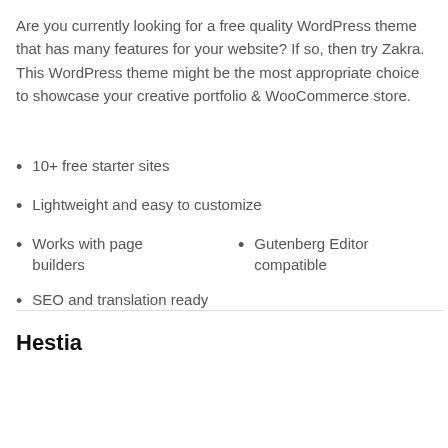Are you currently looking for a free quality WordPress theme that has many features for your website? If so, then try Zakra. This WordPress theme might be the most appropriate choice to showcase your creative portfolio & WooCommerce store.
10+ free starter sites
Lightweight and easy to customize
Works with page builders
Gutenberg Editor compatible
SEO and translation ready
Hestia
[Figure (other): Recommend A Theme button bar with dark blue background and chevron icon; partial view of Hestia theme pink image with logo]